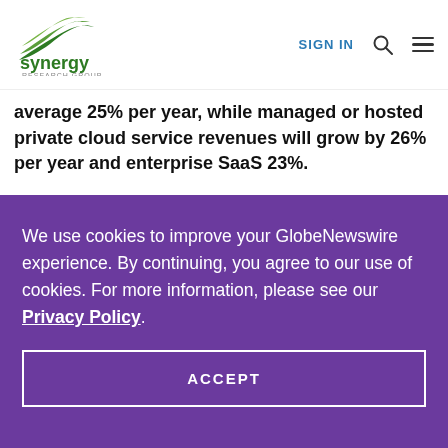Synergy Research Group — SIGN IN
average 25% per year, while managed or hosted private cloud service revenues will grow by 26% per year and enterprise SaaS 23%.
We use cookies to improve your GlobeNewswire experience. By continuing, you agree to our use of cookies. For more information, please see our Privacy Policy.
ACCEPT